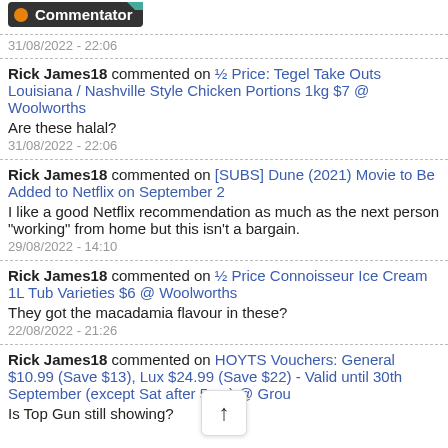[Figure (other): Orange badge reading 'Commentator' with a decorative corner ribbon]
31/08/2022 - 22:06
Rick James18 commented on ½ Price: Tegel Take Outs Louisiana / Nashville Style Chicken Portions 1kg $7 @ Woolworths
Are these halal?
31/08/2022 - 22:06
Rick James18 commented on [SUBS] Dune (2021) Movie to Be Added to Netflix on September 2
I like a good Netflix recommendation as much as the next person "working" from home but this isn't a bargain.
29/08/2022 - 14:10
Rick James18 commented on ½ Price Connoisseur Ice Cream 1L Tub Varieties $6 @ Woolworths
They got the macadamia flavour in these?
22/08/2022 - 21:26
Rick James18 commented on HOYTS Vouchers: General $10.99 (Save $13), Lux $24.99 (Save $22) - Valid until 30th September (except Sat after 5pm) @ Grou
Is Top Gun still showing?